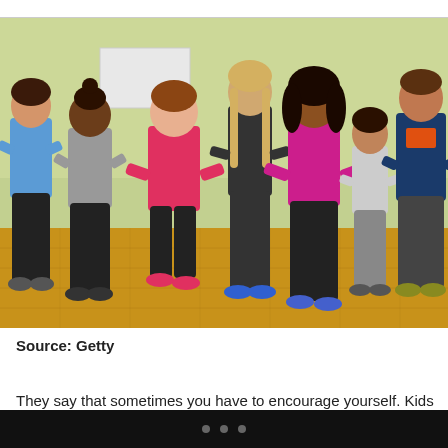[Figure (photo): Seven children standing with hands on hips in a gym or dance studio, wearing athletic clothing in various colors including blue, gray, pink/red, black, magenta, white, and dark blue. Green wall in background, wooden floor.]
Source: Getty
They say that sometimes you have to encourage yourself. Kids